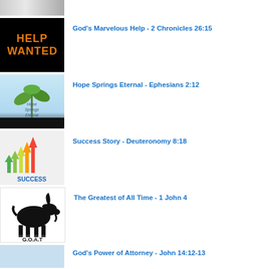[Figure (photo): Partial thumbnail image at top, cropped]
God's Marvelous Help - 2 Chronicles 26:15
Hope Springs Eternal - Ephesians 2:12
Success Story - Deuteronomy 8:18
The Greatest of All Time - 1 John 4
God's Power of Attorney - John 14:12-13